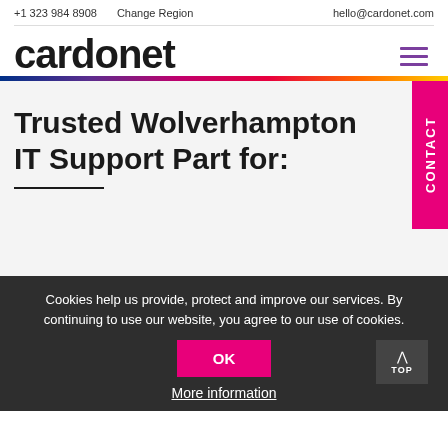+1 323 984 8908   Change Region   hello@cardonet.com
[Figure (logo): Cardonet logo in bold black lowercase text]
[Figure (illustration): Rainbow horizontal gradient bar from blue to purple to pink to red to orange to yellow]
Trusted Wolverhampton IT Support Part for:
Cookies help us provide, protect and improve our services. By continuing to use our website, you agree to our use of cookies.
OK
More information